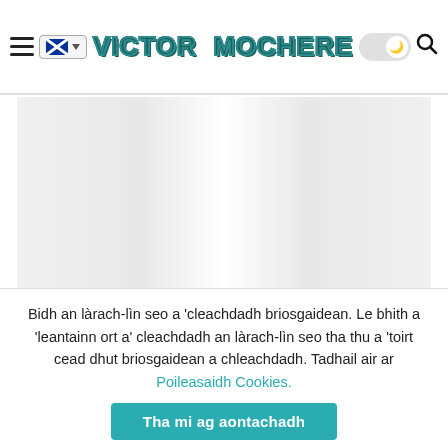VICTOR MOCHERE
[Figure (photo): Large image placeholder with grey gradient, LIVING badge in bottom-left corner]
Bidh an làrach-lìn seo a 'cleachdadh briosgaidean. Le bhith a 'leantainn ort a' cleachdadh an làrach-lìn seo tha thu a 'toirt cead dhut briosgaidean a chleachdadh. Tadhail air ar Poileasaidh Cookies.
Tha mi ag aontachadh